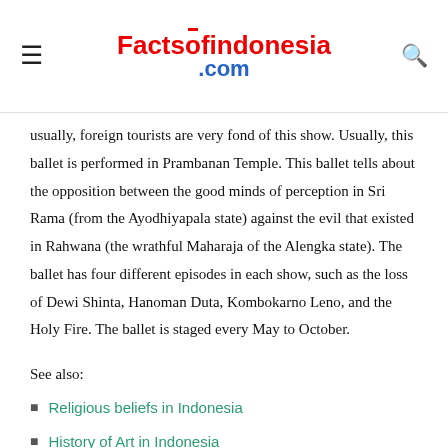Factsofindonesia.com
usually, foreign tourists are very fond of this show. Usually, this ballet is performed in Prambanan Temple. This ballet tells about the opposition between the good minds of perception in Sri Rama (from the Ayodhiyapala state) against the evil that existed in Rahwana (the wrathful Maharaja of the Alengka state). The ballet has four different episodes in each show, such as the loss of Dewi Shinta, Hanoman Duta, Kombokarno Leno, and the Holy Fire. The ballet is staged every May to October.
See also:
Religious beliefs in Indonesia
History of Art in Indonesia
Haunted Places in Indonesia